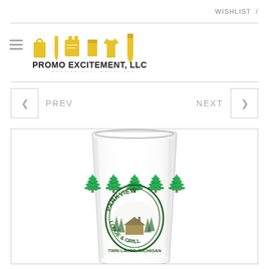WISHLIST /
[Figure (logo): Promo Excitement LLC logo with yellow promotional product icons (bag, pen, pad, cup, shirt, pencil) and text 'PROMO EXCITEMENT, LLC' with 'PROMOTIONAL PRODUCTS' below]
PREV
NEXT
[Figure (photo): A frosted/clear pint glass with a dark green printed logo reading 'Parkview Lodge & Grill - Twin Lakes, Michigan' featuring a lodge/cabin scene with pine trees inside an oval badge design]